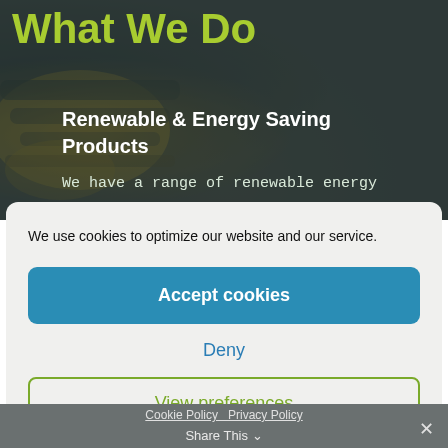[Figure (screenshot): Dark hero banner background with industrial/mechanical imagery (cables or industrial equipment) tinted dark green-grey]
What We Do
Renewable & Energy Saving Products
We have a range of renewable energy
We use cookies to optimize our website and our service.
Accept cookies
Deny
View preferences
Cookie Policy   Privacy Policy   Share This   ×